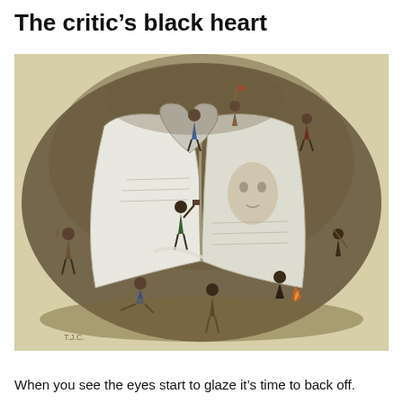The critic's black heart
[Figure (illustration): A vintage color illustration depicting numerous small figures attacking, defacing, and tearing apart an enormous open book. The book has a heart-shaped opening at the top. Various characters are shown hammering, stabbing, burning, pulling pages, and clambering over the large tome. A face is visible on the right page of the book. The scene has a dark, smoky atmosphere with green and brown tones.]
When you see the eyes start to glaze it's time to back off.